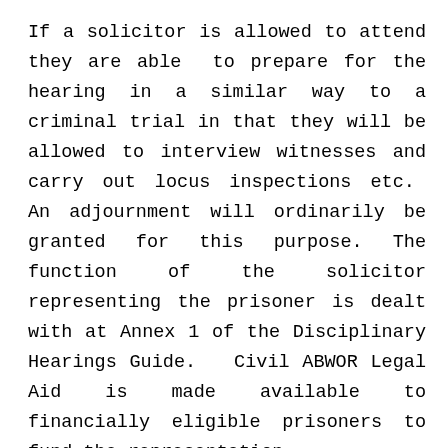If a solicitor is allowed to attend they are able to prepare for the hearing in a similar way to a criminal trial in that they will be allowed to interview witnesses and carry out locus inspections etc. An adjournment will ordinarily be granted for this purpose. The function of the solicitor representing the prisoner is dealt with at Annex 1 of the Disciplinary Hearings Guide. Civil ABWOR Legal Aid is made available to financially eligible prisoners to fund the representation.
It was interesting to note that as a result of my attendance, the SPS were also